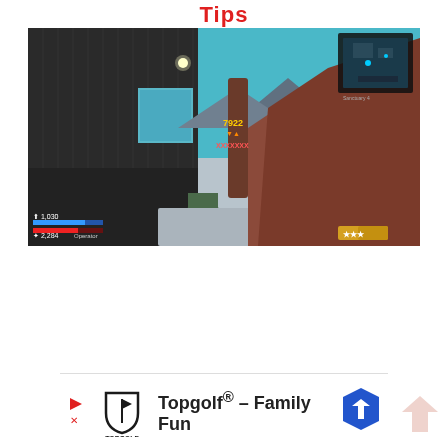Tips
[Figure (screenshot): First-person shooter game screenshot showing a post-apocalyptic outdoor area with wooden buildings, a character holding a large weapon in the foreground, HUD elements showing health bar, shield bar, and ammo count, minimap in top right corner, and enemy damage numbers visible in the scene.]
[Figure (infographic): Advertisement bar for Topgolf showing the Topgolf logo with a play button icon on the left and a blue navigation/map arrow icon on the right, with text 'Topgolf® – Family Fun']